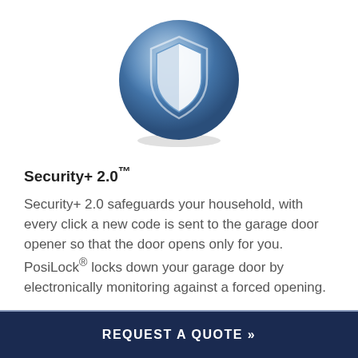[Figure (logo): Blue circular shield icon with a white shield emblem in the center, representing security]
Security+ 2.0™
Security+ 2.0 safeguards your household, with every click a new code is sent to the garage door opener so that the door opens only for you. PosiLock® locks down your garage door by electronically monitoring against a forced opening.
REQUEST A QUOTE »